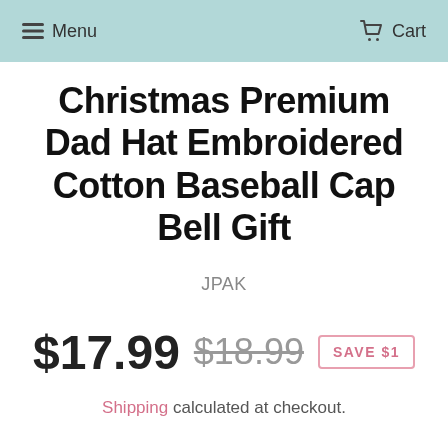Menu   Cart
Christmas Premium Dad Hat Embroidered Cotton Baseball Cap Bell Gift
JPAK
$17.99  $18.99  SAVE $1
Shipping calculated at checkout.
Color